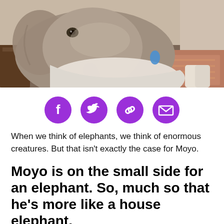[Figure (photo): A baby elephant indoors, close-up, leaning on a person or furniture, with patterned carpet and wooden furniture visible in background]
[Figure (infographic): Four purple circular social share buttons: Facebook, Twitter, Link/chain, Email/envelope]
When we think of elephants, we think of enormous creatures. But that isn't exactly the case for Moyo.
Moyo is on the small side for an elephant. So, much so that he's more like a house elephant.
ADVERTISEMENT